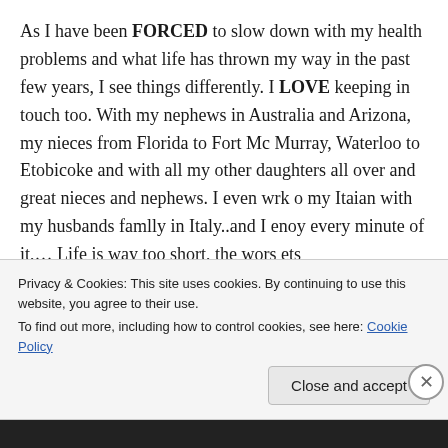As I have been FORCED to slow down with my health problems and what life has thrown my way in the past few years, I see things differently. I LOVE keeping in touch too. With my nephews in Australia and Arizona, my nieces from Florida to Fort Mc Murray, Waterloo to Etobicoke and with all my other daughters all over and great nieces and nephews. I even wrk o my Itaian with my husbands famlly in Italy..and I enoy every minute of it,… Life is way too short, the wors ets
Privacy & Cookies: This site uses cookies. By continuing to use this website, you agree to their use.
To find out more, including how to control cookies, see here: Cookie Policy
Close and accept